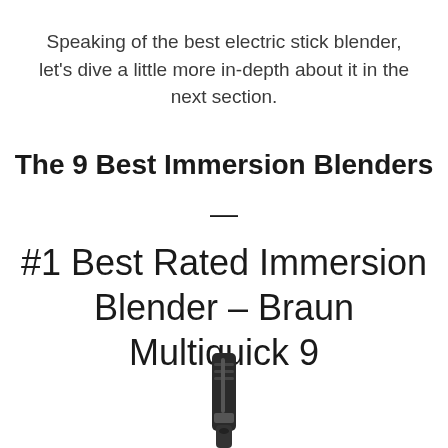Speaking of the best electric stick blender, let's dive a little more in-depth about it in the next section.
The 9 Best Immersion Blenders
—
#1 Best Rated Immersion Blender – Braun Multiquick 9
[Figure (photo): Bottom portion of an immersion blender (Braun Multiquick 9) handle shown vertically, cropped at the bottom of the page]